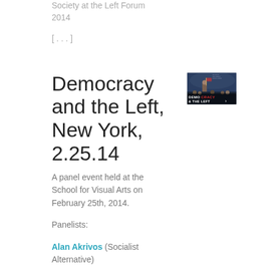Society at the Left Forum 2014
[ . . . ]
Democracy and the Left, New York, 2.25.14
[Figure (photo): Event poster image showing 'Democracy & The Left' text over a dramatic painting background]
A panel event held at the School for Visual Arts on February 25th, 2014.
Panelists:
Alan Akrivos (Socialist Alternative)